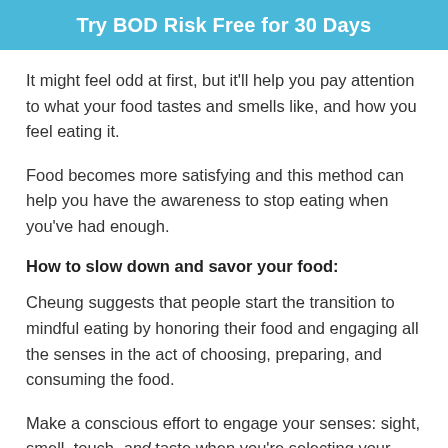Try BOD Risk Free for 30 Days
It might feel odd at first, but it'll help you pay attention to what your food tastes and smells like, and how you feel eating it.
Food becomes more satisfying and this method can help you have the awareness to stop eating when you've had enough.
How to slow down and savor your food:
Cheung suggests that people start the transition to mindful eating by honoring their food and engaging all the senses in the act of choosing, preparing, and consuming the food.
Make a conscious effort to engage your senses: sight, smell, touch, and taste when you're selecting your food at